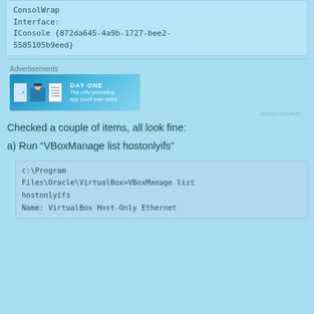ConsolWrap
Interface:
IConsole {872da645-4a9b-1727-bee2-5585105b9eed}
[Figure (screenshot): Advertisement banner for Day One journaling app showing icons and tagline 'The only journaling app you'll ever need.']
Checked a couple of items, all look fine:
a) Run “VBoxManage list hostonlyifs”
c:\Program Files\Oracle\VirtualBox>VBoxManage list hostonlyifs
Name: VirtualBox Host-Only Ethernet